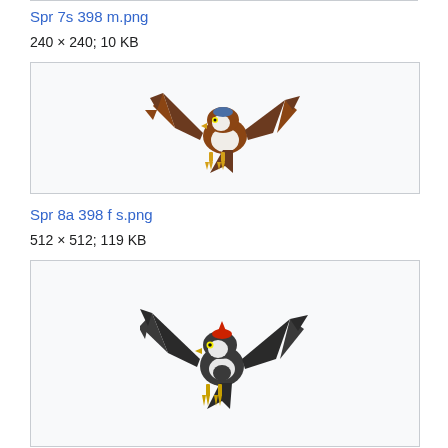Spr 7s 398 m.png
240 × 240; 10 KB
[Figure (illustration): Staraptor Pokemon sprite facing left with wings spread, brown and white coloring with blue head marking, yellow talons]
Spr 8a 398 f s.png
512 × 512; 119 KB
[Figure (illustration): Staraptor female Pokemon sprite facing left with wings spread, dark grey/black and white coloring with red head marking, yellow talons]